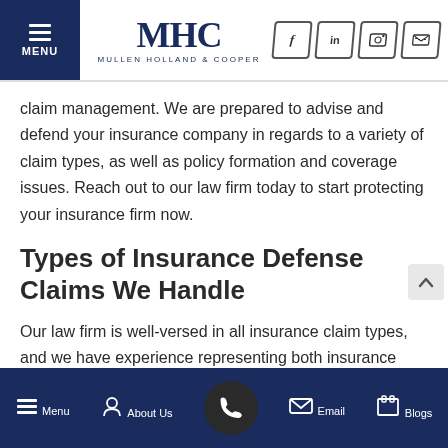MHC MULLEN HOLLAND & COOPER — Menu, social icons
claim management. We are prepared to advise and defend your insurance company in regards to a variety of claim types, as well as policy formation and coverage issues. Reach out to our law firm today to start protecting your insurance firm now.
Types of Insurance Defense Claims We Handle
Our law firm is well-versed in all insurance claim types, and we have experience representing both insurance companies and claimants, providing us with a unique perspective w... offering insurance defense representation – we know the
Menu | About Us | [Phone] | Email | Blogs